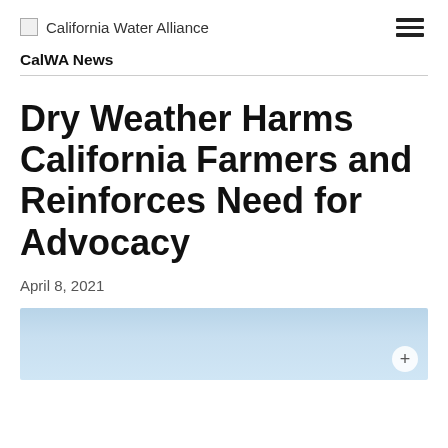California Water Alliance
CalWA News
Dry Weather Harms California Farmers and Reinforces Need for Advocacy
April 8, 2021
[Figure (photo): Partial view of a photo showing a light blue sky, partially visible at the bottom of the page.]